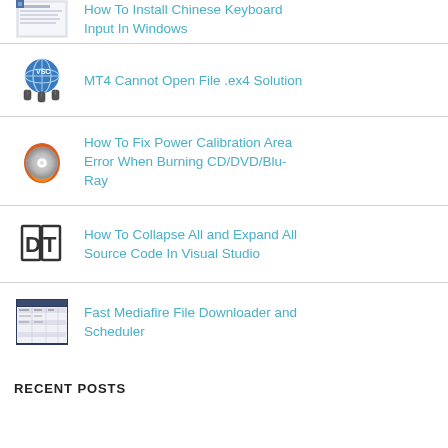How To Install Chinese Keyboard Input In Windows
MT4 Cannot Open File .ex4 Solution
How To Fix Power Calibration Area Error When Burning CD/DVD/Blu-Ray
How To Collapse All and Expand All Source Code In Visual Studio
Fast Mediafire File Downloader and Scheduler
RECENT POSTS